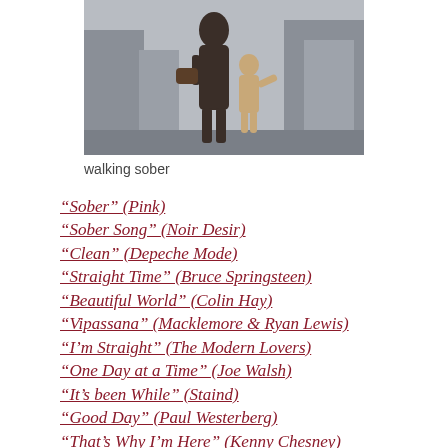[Figure (photo): Photo of a woman and a small child walking together, woman carrying a handbag, child wearing a coat, city background.]
walking sober
“Sober” (Pink)
“Sober Song” (Noir Desir)
“Clean” (Depeche Mode)
“Straight Time” (Bruce Springsteen)
“Beautiful World” (Colin Hay)
“Vipassana” (Macklemore & Ryan Lewis)
“I’m Straight” (The Modern Lovers)
“One Day at a Time” (Joe Walsh)
“It’s been While” (Staind)
“Good Day” (Paul Westerberg)
“That’s Why I’m Here” (Kenny Chesney)
“Twist in my Sobriety” (Tanita Tikaram)
“Little Rock” (Colin Raye)